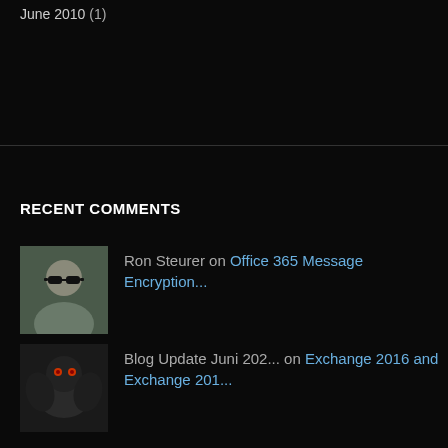June 2010 (1)
RECENT COMMENTS
Ron Steurer on Office 365 Message Encryption...
Blog Update Juni 202... on Exchange 2016 and Exchange 201...
Remove-PSSession - ?... on ISE, Remote PowerShell and Exc...
AUTENTICAÇÃO BÁSICA... on Basic Authentication in Office...
sleepless4slc on Exchange 2016 and Exchange 201...